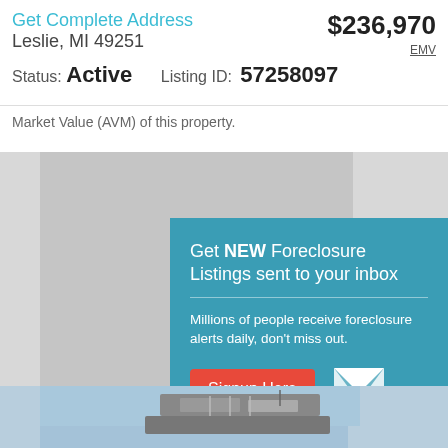Get Complete Address Leslie, MI 49251 $236,970 EMV
Status: Active   Listing ID: 57258097
Market Value (AVM) of this property.
[Figure (screenshot): Property photo area showing gray placeholder images]
Get NEW Foreclosure Listings sent to your inbox
Millions of people receive foreclosure alerts daily, don't miss out.
Signup Here
No Thanks | Remind Me Later